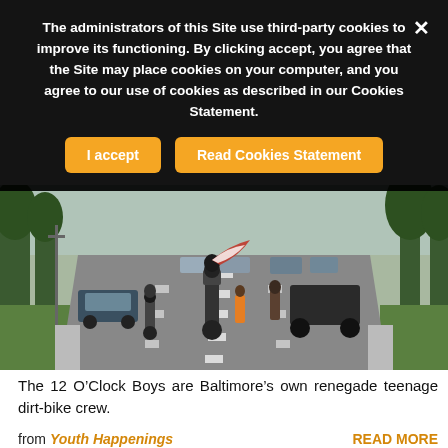The administrators of this Site use third-party cookies to improve its functioning. By clicking accept, you agree that the Site may place cookies on your computer, and you agree to our use of cookies as described in our Cookies Statement.
[Figure (photo): Group of young men riding motorcycles and ATVs down a city street, doing wheelies and stunts. Cars visible in background, trees lining the road, suburban neighborhood setting.]
The 12 O'Clock Boys are Baltimore's own renegade teenage dirt-bike crew.
from Youth Happenings     READ MORE